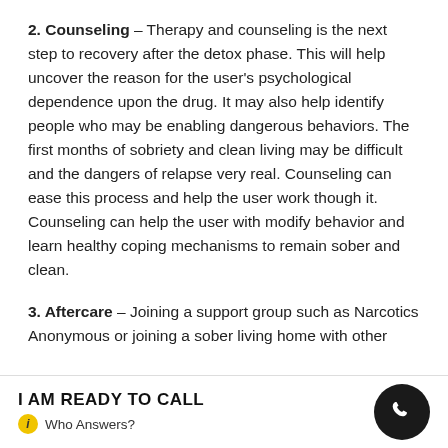2. Counseling – Therapy and counseling is the next step to recovery after the detox phase. This will help uncover the reason for the user's psychological dependence upon the drug. It may also help identify people who may be enabling dangerous behaviors. The first months of sobriety and clean living may be difficult and the dangers of relapse very real. Counseling can ease this process and help the user work though it. Counseling can help the user with modify behavior and learn healthy coping mechanisms to remain sober and clean.
3. Aftercare – Joining a support group such as Narcotics Anonymous or joining a sober living home with other
I AM READY TO CALL  Who Answers?